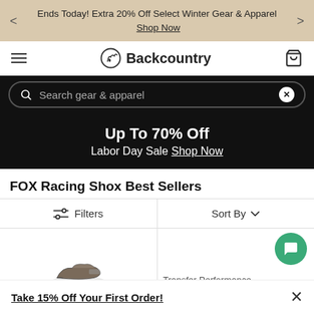Ends Today! Extra 20% Off Select Winter Gear & Apparel Shop Now
[Figure (logo): Backcountry logo with mountain goat icon and wordmark]
Search gear & apparel
[Figure (infographic): Black sale banner: Up To 70% Off Labor Day Sale Shop Now]
FOX Racing Shox Best Sellers
Filters  Sort By
[Figure (photo): Partial product image, appears to be a bike component or shoe]
Transfer Performance
Take 15% Off Your First Order!